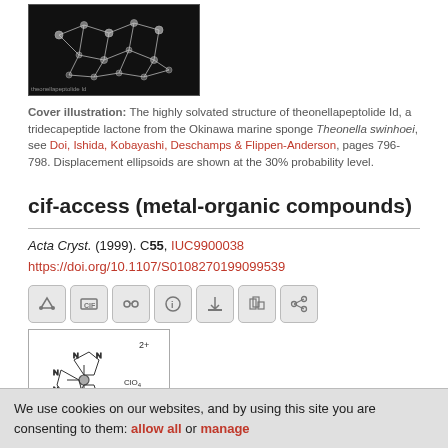[Figure (photo): Molecular structure image of theonellapeptolide Id on black background]
Cover illustration: The highly solvated structure of theonellapeptolide Id, a tridecapeptide lactone from the Okinawa marine sponge Theonella swinhoei, see Doi, Ishida, Kobayashi, Deschamps & Flippen-Anderson, pages 796-798. Displacement ellipsoids are shown at the 30% probability level.
cif-access (metal-organic compounds)
Acta Cryst. (1999). C55, IUC9900038
https://doi.org/10.1107/S0108270199099539
[Figure (illustration): Molecular structure diagram of Tris(1,3-diaminopropane-N,N')nickel(II) diperchlorate showing coordination complex]
Tris(1,3-diaminopropane-N,N')nickel(II) diperchlorate
We use cookies on our websites, and by using this site you are consenting to them: allow all or manage